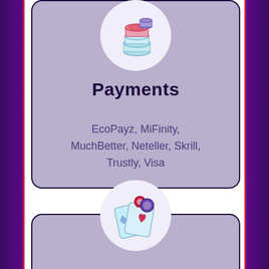[Figure (illustration): Casino chips icon in a circular white background at top of Payments card]
Payments
EcoPayz, MiFinity, MuchBetter, Neteller, Skrill, Trustly, Visa
[Figure (illustration): Playing cards with poker chips icon in a circular white background at top of Game Types card]
Game Types